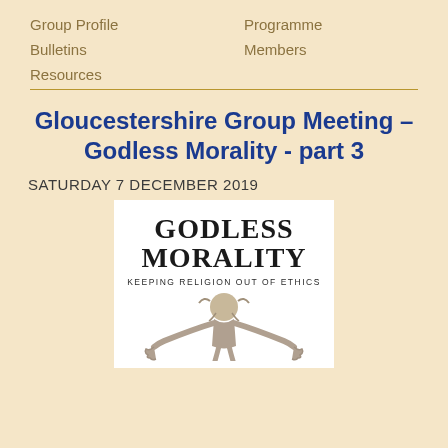Group Profile   Programme   Bulletins   Members   Resources
Gloucestershire Group Meeting – Godless Morality - part 3
SATURDAY 7 DECEMBER 2019
[Figure (illustration): Book cover for 'Godless Morality: Keeping Religion Out of Ethics' showing large serif title text and an illustration of a figure with outstretched arms resembling an ancient bearded figure]